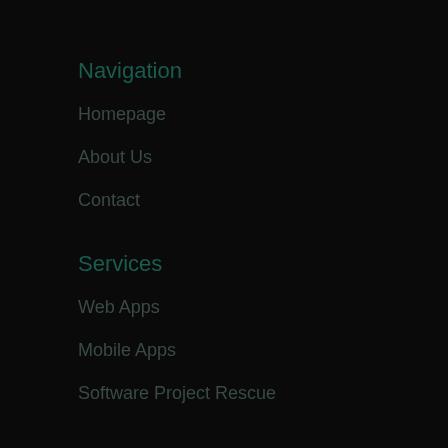Navigation
Homepage
About Us
Contact
Services
Web Apps
Mobile Apps
Software Project Rescue
About Us